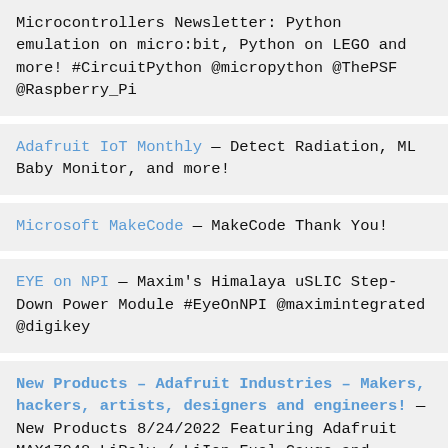Microcontrollers Newsletter: Python emulation on micro:bit, Python on LEGO and more! #CircuitPython @micropython @ThePSF @Raspberry_Pi
Adafruit IoT Monthly — Detect Radiation, ML Baby Monitor, and more!
Microsoft MakeCode — MakeCode Thank You!
EYE on NPI — Maxim's Himalaya uSLIC Step-Down Power Module #EyeOnNPI @maximintegrated @digikey
New Products – Adafruit Industries – Makers, hackers, artists, designers and engineers! — New Products 8/24/2022 Featuring Adafruit MAX17048 LiPoly / LiIon Fuel Gauge and Battery Monitor!
Get the only spam-free daily newsletter about wearables, running a "maker business", electronic tips and more! Subscribe at